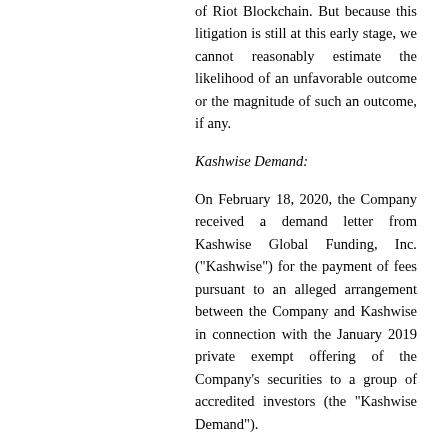of Riot Blockchain. But because this litigation is still at this early stage, we cannot reasonably estimate the likelihood of an unfavorable outcome or the magnitude of such an outcome, if any.
Kashwise Demand:
On February 18, 2020, the Company received a demand letter from Kashwise Global Funding, Inc. ("Kashwise") for the payment of fees pursuant to an alleged arrangement between the Company and Kashwise in connection with the January 2019 private exempt offering of the Company's securities to a group of accredited investors (the "Kashwise Demand").